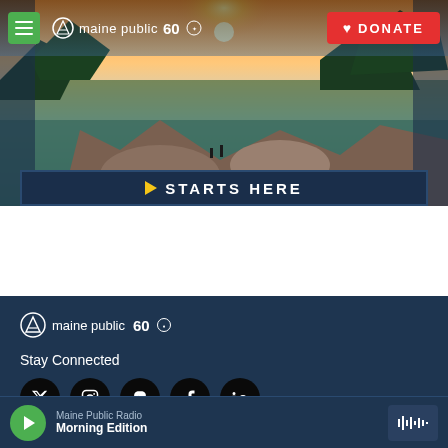[Figure (screenshot): Maine Public website screenshot showing header with logo and donate button, scenic Maine coastal landscape hero image with 'STARTS HERE' banner, and footer with logo, Stay Connected section with social media icons, and audio player bar showing Morning Edition]
maine public 60
DONATE
▶ STARTS HERE
maine public 60
Stay Connected
Maine Public Radio
Morning Edition